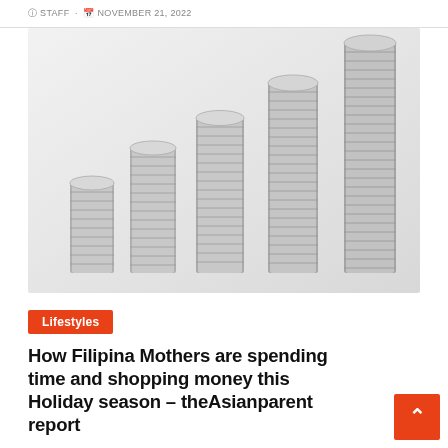by STAFF · NOVEMBER 21, 2022
[Figure (photo): Five stacks of silver coins arranged in ascending height from left to right against a light gray background, illustrating increasing amounts of money.]
Lifestyles
How Filipina Mothers are spending time and shopping money this Holiday season – theAsianparent report